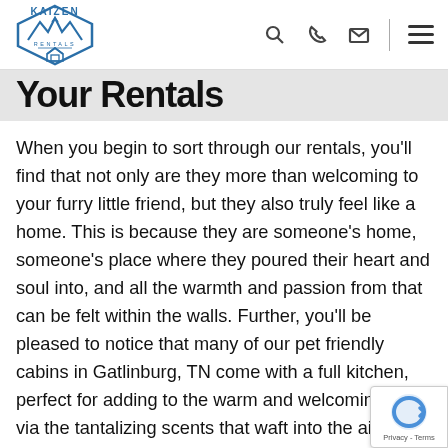[Figure (logo): Kaizen Rentals logo with mountain peaks and house icon inside a diamond shape, blue color]
Your Rentals
When you begin to sort through our rentals, you'll find that not only are they more than welcoming to your furry little friend, but they also truly feel like a home. This is because they are someone's home, someone's place where they poured their heart and soul into, and all the warmth and passion from that can be felt within the walls. Further, you'll be pleased to notice that many of our pet friendly cabins in Gatlinburg, TN come with a full kitchen, perfect for adding to the warm and welcoming feel via the tantalizing scents that waft into the air as you prepare a good old-fashioned home-cooked meal.